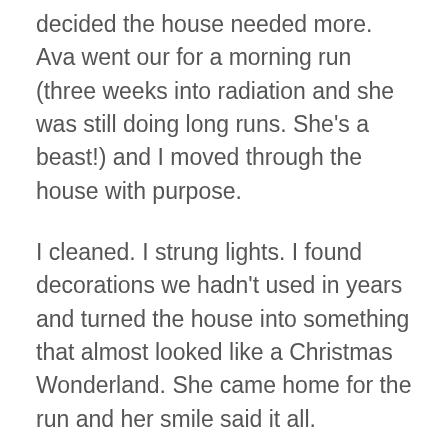decided the house needed more. Ava went our for a morning run (three weeks into radiation and she was still doing long runs. She's a beast!) and I moved through the house with purpose.
I cleaned. I strung lights. I found decorations we hadn't used in years and turned the house into something that almost looked like a Christmas Wonderland. She came home for the run and her smile said it all.
And…I added thousands of steps to my Fitbit.